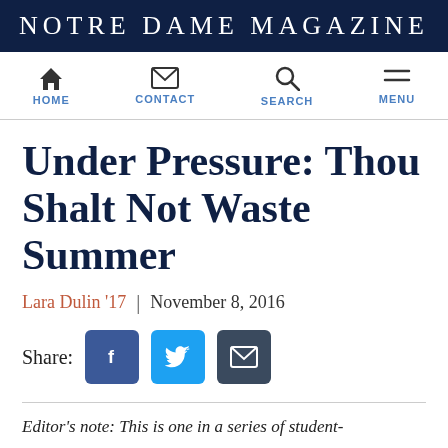Notre Dame Magazine
[Figure (other): Navigation bar with HOME, CONTACT, SEARCH, MENU icons]
Under Pressure: Thou Shalt Not Waste Summer
Lara Dulin '17  |  November 8, 2016
[Figure (other): Share buttons: Facebook, Twitter, Email]
Editor's note: This is one in a series of student-